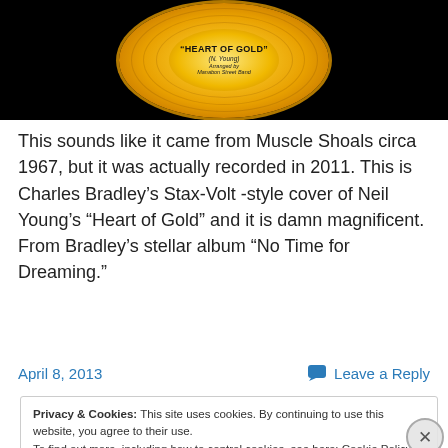[Figure (photo): A vinyl record label showing 'HEART OF GOLD' (N. Young), Arranged by Manabon Street Band, on a gold/yellow circular label, with black sidebars on left and right.]
This sounds like it came from Muscle Shoals circa 1967, but it was actually recorded in 2011. This is Charles Bradley’s Stax-Volt -style cover of Neil Young’s “Heart of Gold” and it is damn magnificent. From Bradley’s stellar album “No Time for Dreaming.”
April 8, 2013
Leave a Reply
Privacy & Cookies: This site uses cookies. By continuing to use this website, you agree to their use.
To find out more, including how to control cookies, see here: Cookie Policy